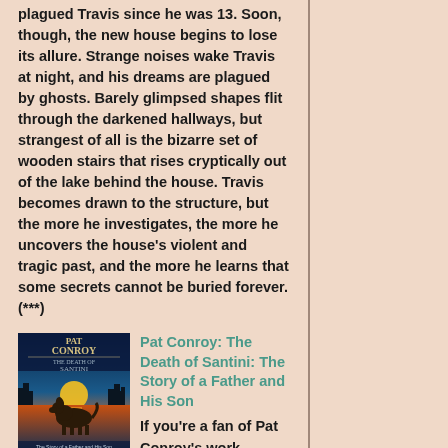plagued Travis since he was 13. Soon, though, the new house begins to lose its allure. Strange noises wake Travis at night, and his dreams are plagued by ghosts. Barely glimpsed shapes flit through the darkened hallways, but strangest of all is the bizarre set of wooden stairs that rises cryptically out of the lake behind the house. Travis becomes drawn to the structure, but the more he investigates, the more he uncovers the house's violent and tragic past, and the more he learns that some secrets cannot be buried forever. (***)
[Figure (illustration): Book cover of 'Pat Conroy: The Death of Santini: The Story of a Father and His Son' showing a dog silhouette against a sunset over water with a cityscape]
Pat Conroy: The Death of Santini: The Story of a Father and His Son
If you're a fan of Pat Conroy's work, you've already met Santini, aka Pat's father, Don Conroy, in Conroy's fiction. The